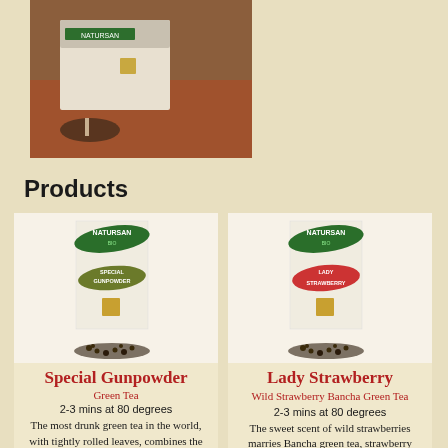[Figure (photo): Photo of tea bag packaging on a table, showing Natursan product]
Products
[Figure (photo): Natursan BIO Special Gunpowder green tea box with loose tea pellets in front]
Special Gunpowder
Green Tea
2-3 mins at 80 degrees
The most drunk green tea in the world, with tightly rolled leaves, combines the fresh taste and light aroma of a
[Figure (photo): Natursan BIO Lady Strawberry green tea box with loose tea pellets in front]
Lady Strawberry
Wild Strawberry Bancha Green Tea
2-3 mins at 80 degrees
The sweet scent of wild strawberries marries Bancha green tea, strawberry pieces